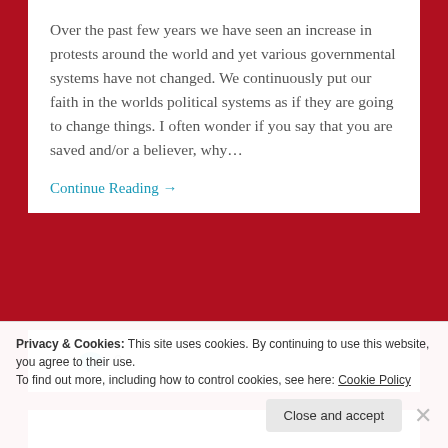Over the past few years we have seen an increase in protests around the world and yet various governmental systems have not changed. We continuously put our faith in the worlds political systems as if they are going to change things. I often wonder if you say that you are saved and/or a believer, why...
Continue Reading →
0
Privacy & Cookies: This site uses cookies. By continuing to use this website, you agree to their use.
To find out more, including how to control cookies, see here: Cookie Policy
Close and accept